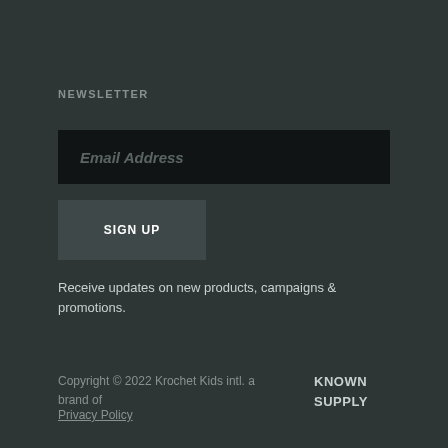NEWSLETTER
Email Address
SIGN UP
Receive updates on new products, campaigns & promotions.
Copyright © 2022 Krochet Kids intl. a brand of
Privacy Policy
KNOWN SUPPLY